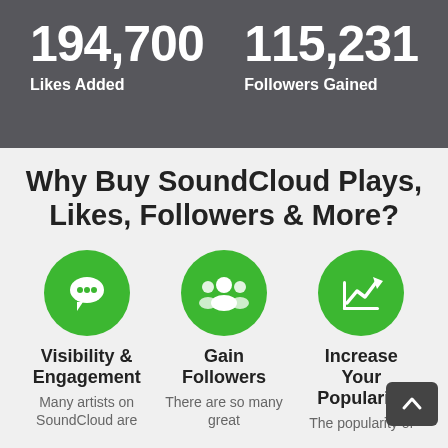194,700
Likes Added
115,231
Followers Gained
Why Buy SoundCloud Plays, Likes, Followers & More?
[Figure (infographic): Green circle with speech bubble / comments icon representing Visibility & Engagement]
Visibility & Engagement
Many artists on SoundCloud are
[Figure (infographic): Green circle with group/people icon representing Gain Followers]
Gain Followers
There are so many great
[Figure (infographic): Green circle with trending upward chart icon representing Increase Your Popularity]
Increase Your Popularity
The popularity of